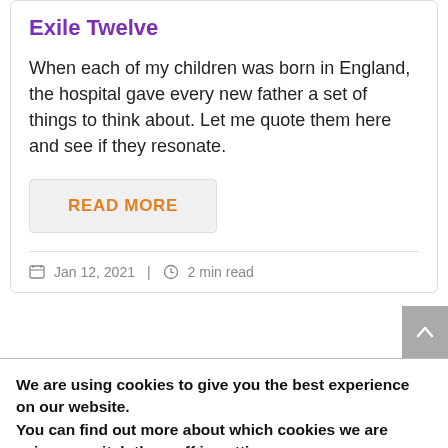Exile Twelve
When each of my children was born in England, the hospital gave every new father a set of things to think about. Let me quote them here and see if they resonate.
READ MORE
Jan 12, 2021 | 2 min read
We are using cookies to give you the best experience on our website.
You can find out more about which cookies we are using or switch them off in settings.
Accept
Reject
Settings
×